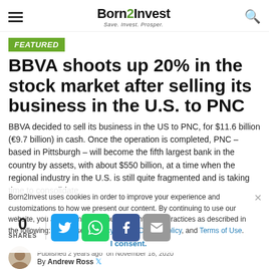Born2Invest — Save. Invest. Prosper.
FEATURED
BBVA shoots up 20% in the stock market after selling its business in the U.S. to PNC
BBVA decided to sell its business in the US to PNC, for $11.6 billion (€9.7 billion) in cash. Once the operation is completed, PNC – based in Pittsburgh – will become the fifth largest bank in the country by assets, with about $550 billion, at a time when the regional industry in the U.S. is still quite fragmented and is taking time to consolidate.
Published 2 years ago on November 18, 2020
By Andrew Ross